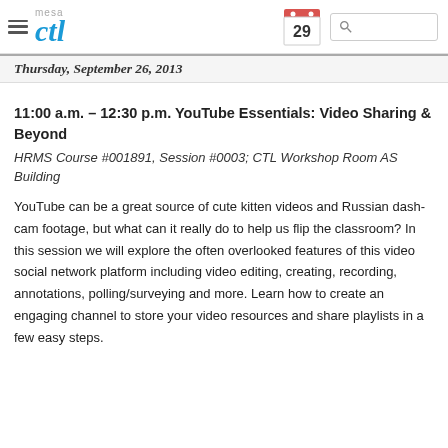mesa ctl
Thursday, September 26, 2013
11:00 a.m. – 12:30 p.m. YouTube Essentials: Video Sharing & Beyond
HRMS Course #001891, Session #0003; CTL Workshop Room AS Building
YouTube can be a great source of cute kitten videos and Russian dash-cam footage, but what can it really do to help us flip the classroom? In this session we will explore the often overlooked features of this video social network platform including video editing, creating, recording, annotations, polling/surveying and more. Learn how to create an engaging channel to store your video resources and share playlists in a few easy steps.